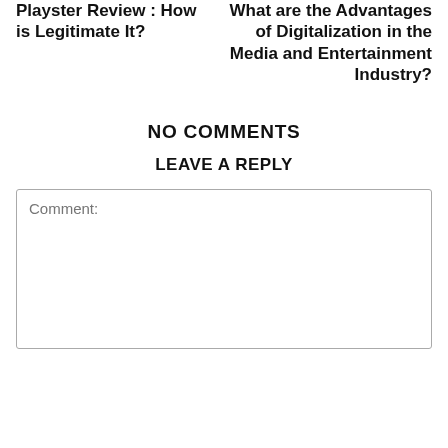Playster Review : How is Legitimate It?
What are the Advantages of Digitalization in the Media and Entertainment Industry?
NO COMMENTS
LEAVE A REPLY
Comment: